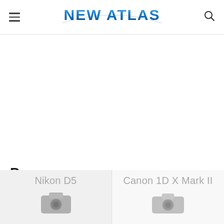NEW ATLAS
Processor
| Nikon D5 | Canon 1D X Mark II |
| --- | --- |